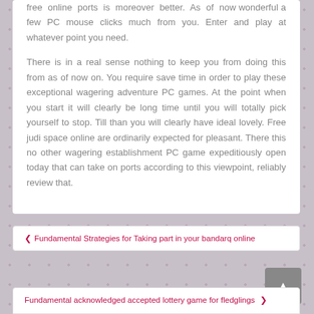free online ports is moreover better. As of now wonderful a few PC mouse clicks much from you. Enter and play at whatever point you need.
There is in a real sense nothing to keep you from doing this from as of now on. You require save time in order to play these exceptional wagering adventure PC games. At the point when you start it will clearly be long time until you will totally pick yourself to stop. Till than you will clearly have ideal lovely. Free judi space online are ordinarily expected for pleasant. There this no other wagering establishment PC game expeditiously open today that can take on ports according to this viewpoint, reliably review that.
Fundamental Strategies for Taking part in your bandarq online
Fundamental acknowledged accepted lottery game for fledglings